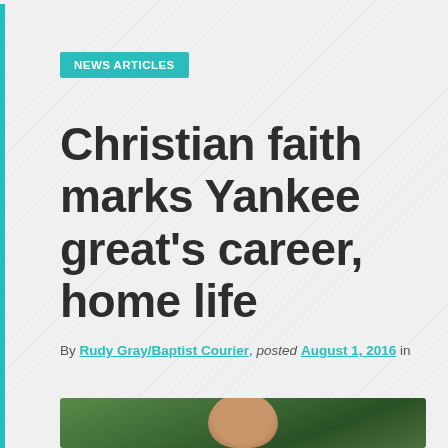NEWS ARTICLES
Christian faith marks Yankee great's career, home life
By Rudy Gray/Baptist Courier, posted August 1, 2016 in
[Figure (photo): Photograph of a person partially visible at the bottom of the page, with green foliage background]